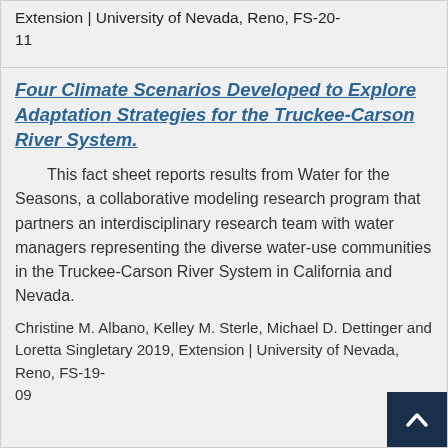Extension | University of Nevada, Reno, FS-20-11
Four Climate Scenarios Developed to Explore Adaptation Strategies for the Truckee-Carson River System.
This fact sheet reports results from Water for the Seasons, a collaborative modeling research program that partners an interdisciplinary research team with water managers representing the diverse water-use communities in the Truckee-Carson River System in California and Nevada.
Christine M. Albano, Kelley M. Sterle, Michael D. Dettinger and Loretta Singletary 2019, Extension | University of Nevada, Reno, FS-19-09